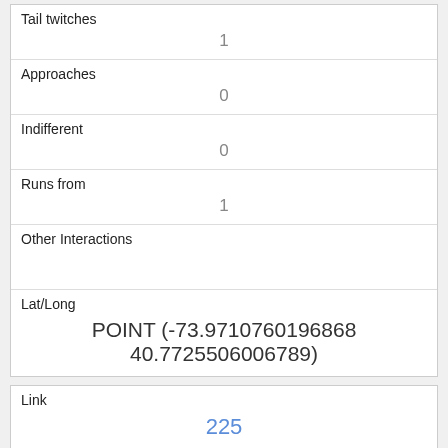| Field | Value |
| --- | --- |
| Tail twitches | 1 |
| Approaches | 0 |
| Indifferent | 0 |
| Runs from | 1 |
| Other Interactions |  |
| Lat/Long | POINT (-73.9710760196868 40.7725506006789) |
| Field | Value |
| --- | --- |
| Link | 225 |
| rowid | 225 |
| longitude | -73.963842266151 |
| latitude | 40.788734086777296 |